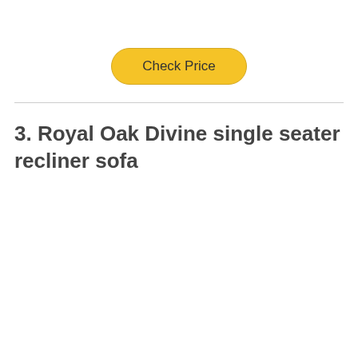[Figure (other): Yellow rounded button labeled 'Check Price']
3. Royal Oak Divine single seater recliner sofa